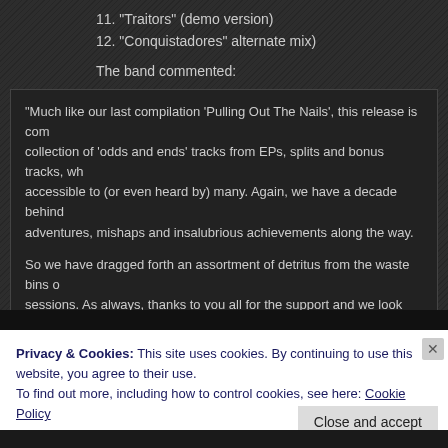11. “Traitors” (demo version)
12. “Conquistadores” alternate mix)
The band commented:
“Much like our last compilation ‘Pulling Out The Nails’, this release is com… collection of ‘odds and ends’ tracks from EPs, splits and bonus tracks, wh… accessible to (or even heard by) many. Again, we have a decade behind … adventures, mishaps and insalubrious achievements along the way.

So we have dragged forth an assortment of detritus from the waste bins o… sessions. As always, thanks to you all for the support and we look forward… somewhere along the road during the next ten years (assuming the world…
Privacy & Cookies: This site uses cookies. By continuing to use this website, you agree to their use. To find out more, including how to control cookies, see here: Cookie Policy
Close and accept